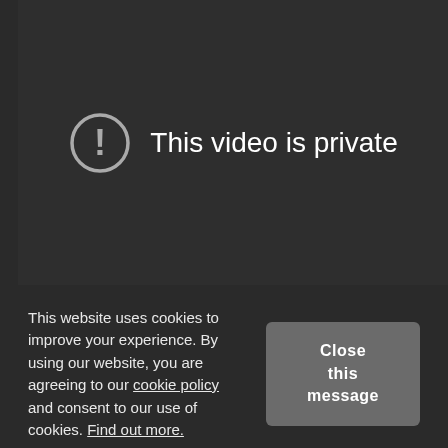[Figure (screenshot): Dark video player area showing a private video message with a circular exclamation mark icon and text 'This video is private']
This website uses cookies to improve your experience. By using our website, you are agreeing to our cookie policy and consent to our use of cookies. Find out more.